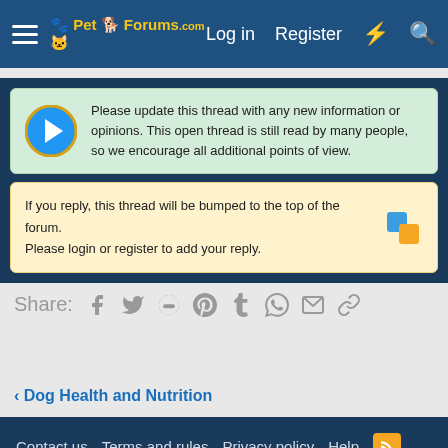Pet Forums — Log in  Register
Please update this thread with any new information or opinions. This open thread is still read by many people, so we encourage all additional points of view.
If you reply, this thread will be bumped to the top of the forum. Please login or register to add your reply.
Share:
< Dog Health and Nutrition
Contact us  Terms and rules  Privacy policy  Help  Forum software by XenForo® © 2010-2020 XenForo Ltd.